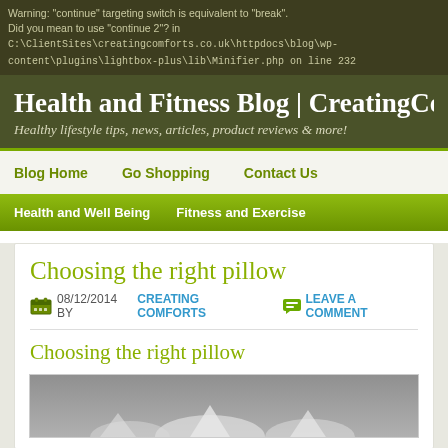Warning: "continue" targeting switch is equivalent to "break". Did you mean to use "continue 2"? in C:\ClientSites\creatingcomforts.co.uk\httpdocs\blog\wp-content\plugins\lightbox-plus\lib\Minifier.php on line 232
Health and Fitness Blog | CreatingComfo
Healthy lifestyle tips, news, articles, product reviews & more!
Blog Home   Go Shopping   Contact Us
Health and Well Being   Fitness and Exercise
Choosing the right pillow
08/12/2014 BY CREATING COMFORTS   LEAVE A COMMENT
Choosing the right pillow
[Figure (photo): Partial photo of pillows, gray/white image, bottom of frame visible]